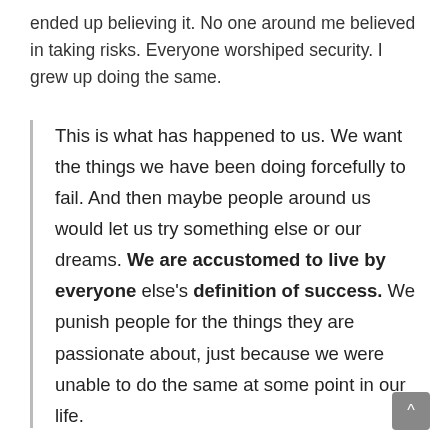ended up believing it. No one around me believed in taking risks. Everyone worshiped security. I grew up doing the same.
This is what has happened to us. We want the things we have been doing forcefully to fail. And then maybe people around us would let us try something else or our dreams. We are accustomed to live by everyone else's definition of success. We punish people for the things they are passionate about, just because we were unable to do the same at some point in our life.